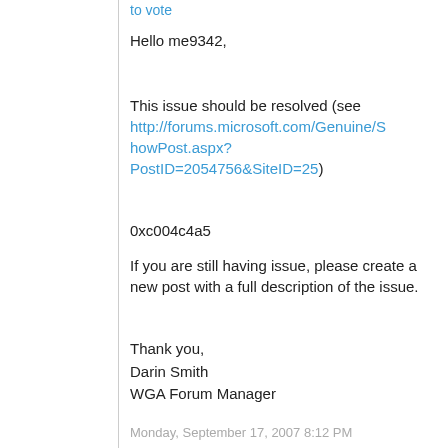to vote
Hello me9342,
This issue should be resolved (see http://forums.microsoft.com/Genuine/ShowPost.aspx?PostID=2054756&SiteID=25)
0xc004c4a5
If you are still having issue, please create a new post with a full description of the issue.
Thank you,
Darin Smith
WGA Forum Manager
Monday, September 17, 2007 8:12 PM